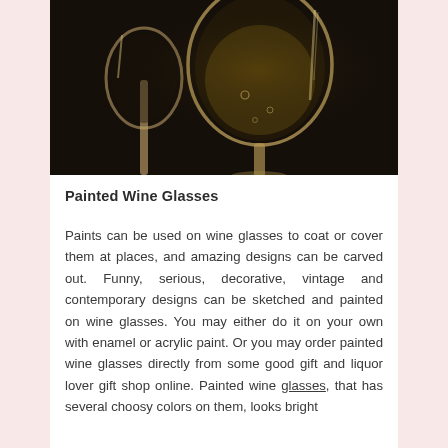[Figure (photo): Two wine glasses photographed against a black background, showing their stems and bowls with reflections and liquid inside.]
Painted Wine Glasses
Paints can be used on wine glasses to coat or cover them at places, and amazing designs can be carved out. Funny, serious, decorative, vintage and contemporary designs can be sketched and painted on wine glasses. You may either do it on your own with enamel or acrylic paint. Or you may order painted wine glasses directly from some good gift and liquor lover gift shop online. Painted wine glasses, that has several choosy colors on them, looks bright